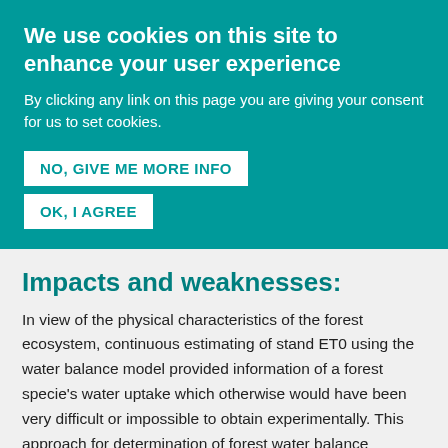We use cookies on this site to enhance your user experience
By clicking any link on this page you are giving your consent for us to set cookies.
NO, GIVE ME MORE INFO
OK, I AGREE
Impacts and weaknesses:
In view of the physical characteristics of the forest ecosystem, continuous estimating of stand ET0 using the water balance model provided information of a forest specie's water uptake which otherwise would have been very difficult or impossible to obtain experimentally. This approach for determination of forest water balance enables one to study the response of different species to water stress and to improve the adaptation of forest species to specific climate